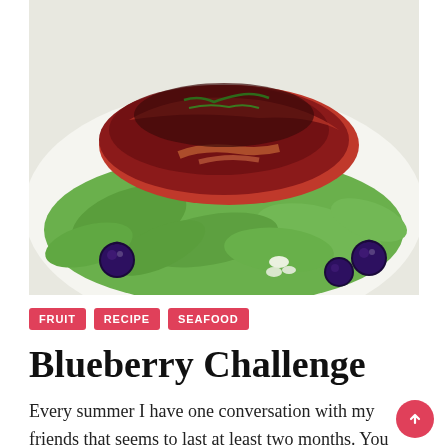[Figure (photo): A salmon fillet with blueberry glaze served on a bed of arugula with fresh blueberries and crumbled cheese on a white plate]
FRUIT
RECIPE
SEAFOOD
Blueberry Challenge
Every summer I have one conversation with my friends that seems to last at least two months.  You would think it would be about the hot weather but it's not.  We talk